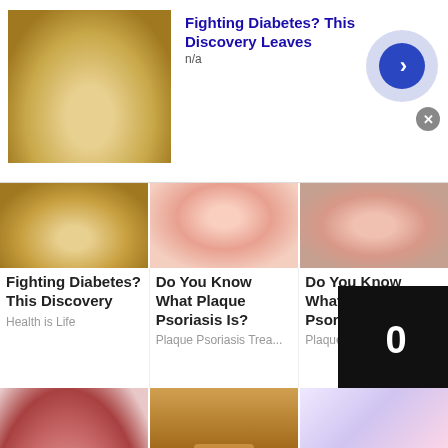[Figure (screenshot): Top ad banner: thumbnail of food, title 'Fighting Diabetes? This Discovery Leaves', n/a label, arrow button, close button]
[Figure (photo): Three-column image row: food/diabetes image, plaque psoriasis hand image, plaque psoriasis image]
Fighting Diabetes? This Discovery
Health is Life
Do You Know What Plaque Psoriasis Is?
Plaque Psoriasis Trea...
Do You Know What Plaque Psoriasis Is
Plaque Psorias...
[Figure (photo): Three-column image row: red gummies in cup, Bragg apple cider vinegar bottle, cartoon of sleeping person drooling]
Why Is This New
Men: Forget the
Clear Signs of
[Figure (screenshot): Bottom ad banner: face/nose photo, title 'Removing Moles & Skin Tags Has Never Been', n/a label, arrow button, close button]